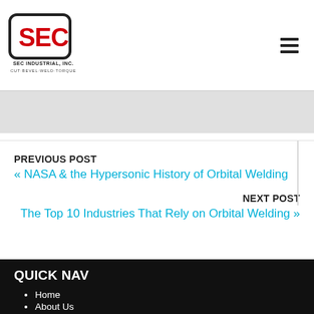[Figure (logo): SEC Industrial, Inc. logo — red SEC text in rounded rectangle, with tagline CUT·BEVEL·WELD·TORQUE below]
PREVIOUS POST
« NASA & the Hypersonic History of Orbital Welding
NEXT POST
The Top 10 Industries That Rely on Orbital Welding »
QUICK NAV
Home
About Us
Automated Pipe Spool Welding
Automated TIG Welder
Automatic Pipe Spool Welding Machine
Integrated Pipe Spool Welding Station